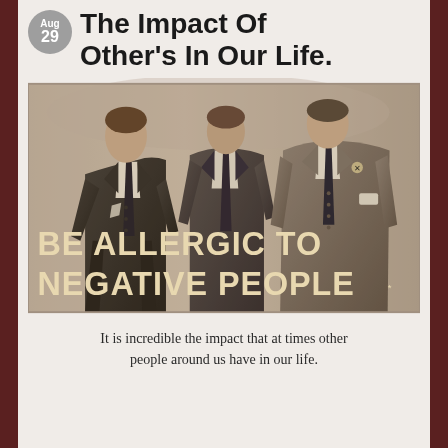The Impact Of Other's In Our Life.
[Figure (photo): Three men in dark suits walking together, with bold text overlay reading 'BE ALLERGIC TO NEGATIVE PEOPLE']
It is incredible the impact that at times other people around us have in our life.